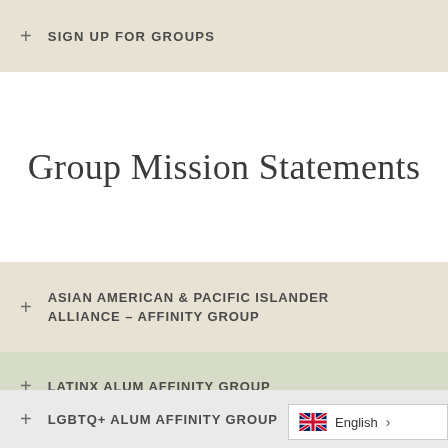+ SIGN UP FOR GROUPS
Group Mission Statements
+ ASIAN AMERICAN & PACIFIC ISLANDER ALLIANCE – AFFINITY GROUP
+ LATINX ALUM AFFINITY GROUP
+ LGBTQ+ ALUM AFFINITY GROUP
English